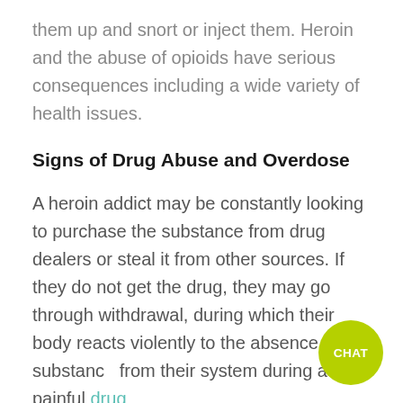them up and snort or inject them. Heroin and the abuse of opioids have serious consequences including a wide variety of health issues.
Signs of Drug Abuse and Overdose
A heroin addict may be constantly looking to purchase the substance from drug dealers or steal it from other sources. If they do not get the drug, they may go through withdrawal, during which their body reacts violently to the absence of the substance from their system during a painful drug
[Figure (other): Green circular chat button with text CHAT in white bold letters]